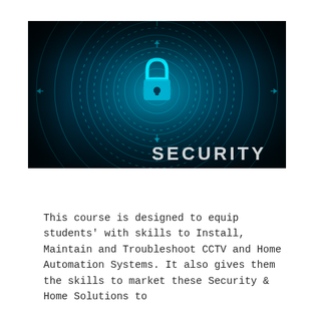[Figure (illustration): Dark blue/teal technology security image featuring a padlock icon centered within concentric circular rings with digital/circuit patterns radiating outward. The word 'SECURITY' appears in bold white letters at the bottom right of the image.]
This course is designed to equip students' with skills to Install, Maintain and Troubleshoot CCTV and Home Automation Systems. It also gives them the skills to market these Security & Home Solutions to